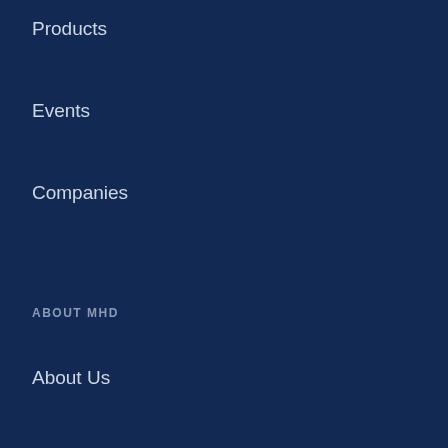Products
Events
Companies
ABOUT MHD
About Us
Contact Us
Subscribe
Advertise with MHD
Privacy Policy
Terms & Conditions